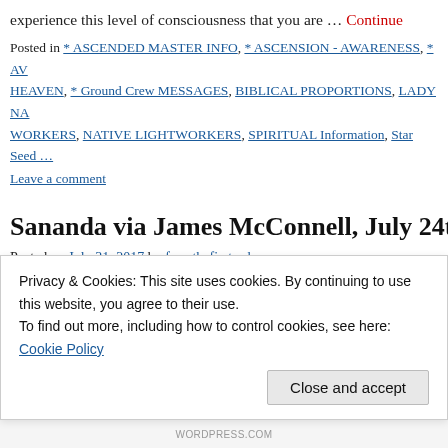experience this level of consciousness that you are … Continue
Posted in * ASCENDED MASTER INFO, * ASCENSION - AWARENESS, * AV HEAVEN, * Ground Crew MESSAGES, BIBLICAL PROPORTIONS, LADY NA WORKERS, NATIVE LIGHTWORKERS, SPIRITUAL Information, Star Seed …
Leave a comment
Sananda via James McConnell, July 24th
Posted on July 31, 2017 by fromthefirstorder
Sananda via James McConnell, July 24th, 2017 Sananda July 31 messages) SANANDA I AM Sananda. And as always it is wond with all that share in our understanding our remembering … Co
Posted in * AGE - OF - AQUARIUS, * ASCENDED MASTER INFO, * ASCEN IO S
Privacy & Cookies: This site uses cookies. By continuing to use this website, you agree to their use.
To find out more, including how to control cookies, see here: Cookie Policy
Close and accept
WORDPRESS.COM